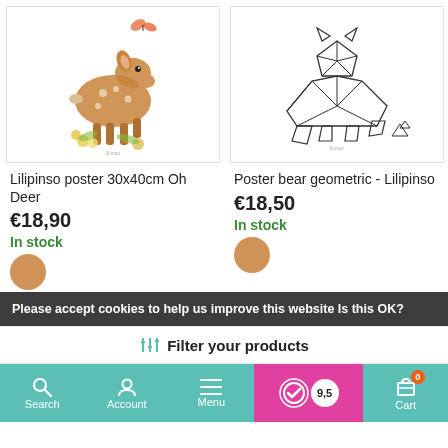[Figure (photo): Watercolor illustration of a baby deer (fawn) with flowers and a butterfly on a white poster background]
[Figure (illustration): Geometric line-art illustration of a bear made of polygonal facets on a white poster background]
Lilipinso poster 30x40cm Oh Deer
€18,90
In stock
Poster bear geometric - Lilipinso
€18,50
In stock
Please accept cookies to help us improve this website Is this OK?
Filter your products
Search  Account  Menu  [rating 9,5]  Cart 0